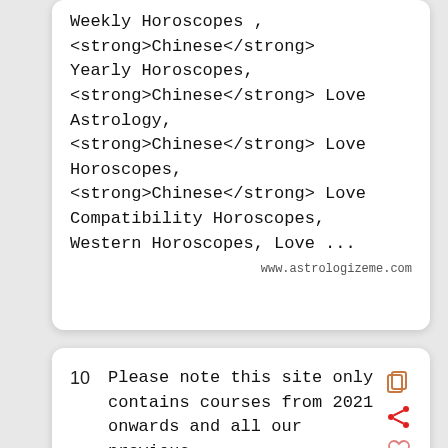Weekly Horoscopes , <strong>Chinese</strong> Yearly Horoscopes, <strong>Chinese</strong> Love Astrology, <strong>Chinese</strong> Love Horoscopes, <strong>Chinese</strong> Love Compatibility Horoscopes, Western Horoscopes, Love ...
www.astrologizeme.com
10  Please note this site only contains courses from 2021 onwards and all our previous courses have moved to the course material archive.
courses.maths.ox.ac.uk